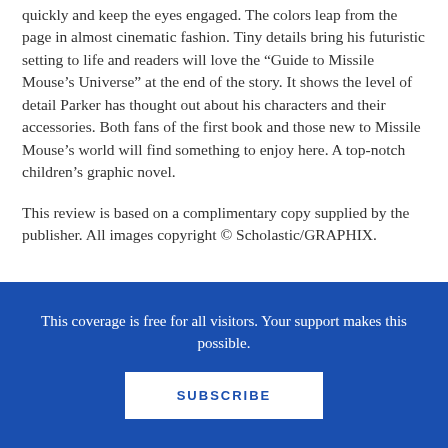quickly and keep the eyes engaged. The colors leap from the page in almost cinematic fashion. Tiny details bring his futuristic setting to life and readers will love the “Guide to Missile Mouse’s Universe” at the end of the story. It shows the level of detail Parker has thought out about his characters and their accessories. Both fans of the first book and those new to Missile Mouse’s world will find something to enjoy here. A top-notch children’s graphic novel.
This review is based on a complimentary copy supplied by the publisher. All images copyright © Scholastic/GRAPHIX.
This coverage is free for all visitors. Your support makes this possible.
SUBSCRIBE